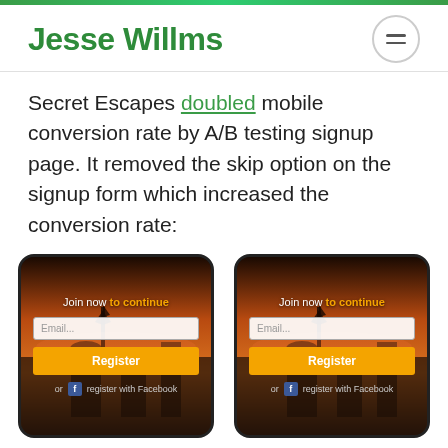Jesse Willms
Secret Escapes doubled mobile conversion rate by A/B testing signup page. It removed the skip option on the signup form which increased the conversion rate:
[Figure (screenshot): Two smartphone screenshots showing a Secret Escapes mobile signup page with a sunset/Santorini background. Each shows 'Join now to continue' text, an email input field, an orange 'Register' button, and a Facebook registration option below.]